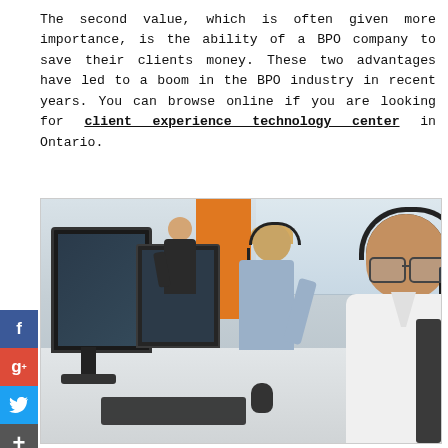The second value, which is often given more importance, is the ability of a BPO company to save their clients money. These two advantages have led to a boom in the BPO industry in recent years. You can browse online if you are looking for client experience technology center in Ontario.
[Figure (photo): Call center office scene with multiple workers wearing headsets at computer workstations. A man in a white shirt with glasses and a headset is prominently in the foreground, smiling and typing on a keyboard. A blonde woman with a headset is visible in the middle ground, and another worker is in the background near an orange panel on the wall.]